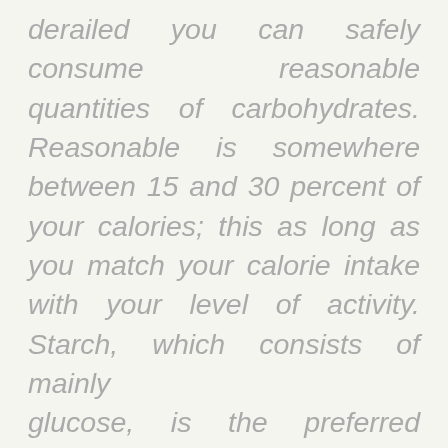derailed you can safely consume reasonable quantities of carbohydrates. Reasonable is somewhere between 15 and 30 percent of your calories; this as long as you match your calorie intake with your level of activity. Starch, which consists of mainly glucose, is the preferred carbohydrate. Fructose, fructan and lactose can best be firmly restricted.
Of course I brought this insight into practice and it resulted in a desired weight gain mainly coming from extra muscle